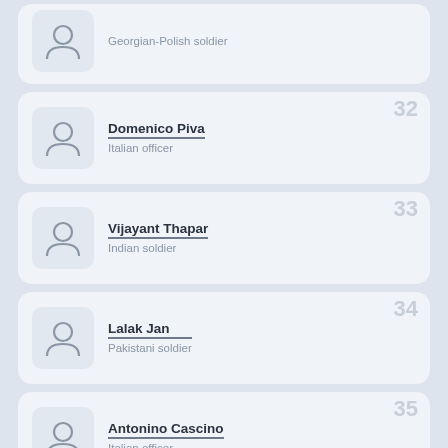Georgian-Polish soldier
32 - Domenico Piva - Italian officer
33 - Vijayant Thapar - Indian soldier
34 - Lalak Jan - Pakistani soldier
35 - Antonino Cascino - Italian officer
36 - Henry Johnson (Buffalo Soldier) - Buffalo Soldier in the United States Army, recipient of the Medal of Honor